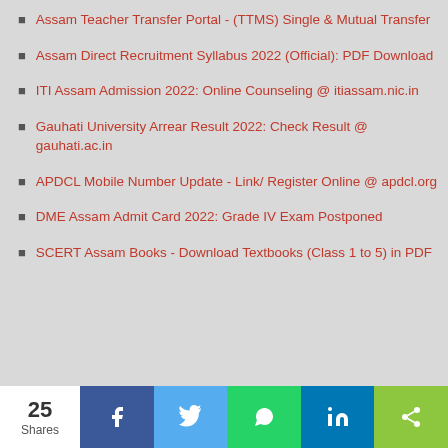Assam Teacher Transfer Portal - (TTMS) Single & Mutual Transfer
Assam Direct Recruitment Syllabus 2022 (Official): PDF Download
ITI Assam Admission 2022: Online Counseling @ itiassam.nic.in
Gauhati University Arrear Result 2022: Check Result @ gauhati.ac.in
APDCL Mobile Number Update - Link/ Register Online @ apdcl.org
DME Assam Admit Card 2022: Grade IV Exam Postponed
SCERT Assam Books - Download Textbooks (Class 1 to 5) in PDF
25 Shares | Share buttons: Facebook, Twitter, WhatsApp, LinkedIn, More